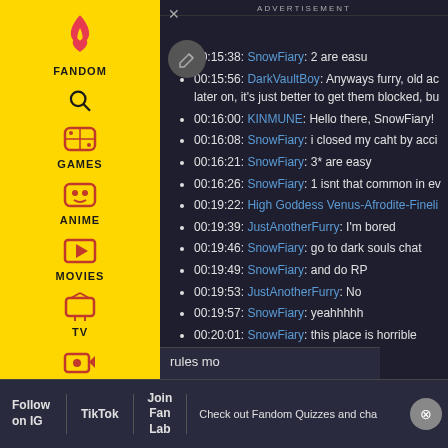[Figure (screenshot): Fandom website sidebar with navigation icons for Games, Anime, Movies, TV, Video categories on yellow background]
ADVERTISEMENT
00:15:38: SnowFiary: 2 are easu
00:15:56: DarkVaultBoy: Anyways furry, old ac later on, it's just better to get them blocked, bu
00:16:00: KINMUNE: Hello there, SnowFiary!
00:16:08: SnowFiary: i closed my caht by acci
00:16:21: SnowFiary: 3* are easy
00:16:26: SnowFiary: 1 isnt that common in ev
00:19:22: High Goddess Venus-Afrodite-Fineli
00:19:39: JustAnotherFurry: I'm bored
00:19:46: SnowFiary: go to dark souls chat
00:19:49: SnowFiary: and do RP
00:19:53: JustAnotherFurry: No
00:19:57: SnowFiary: yeahhhhh
00:20:01: SnowFiary: this place is horrible
Follow on IG | TikTok | Join Fan Lab | Check out Fandom Quizzes and cha | rules mo